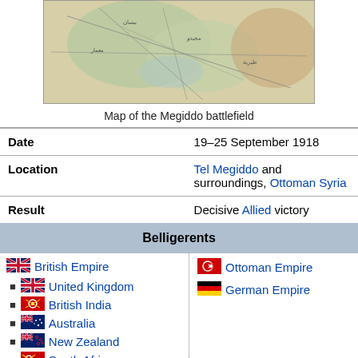[Figure (map): Map of the Megiddo battlefield area showing roads, terrain, and settlements]
Map of the Megiddo battlefield
| Date | 19–25 September 1918 |
| Location | Tel Megiddo and surroundings, Ottoman Syria |
| Result | Decisive Allied victory |
Belligerents
British Empire
Ottoman Empire
German Empire
United Kingdom
British India
Australia
New Zealand
South Africa
France